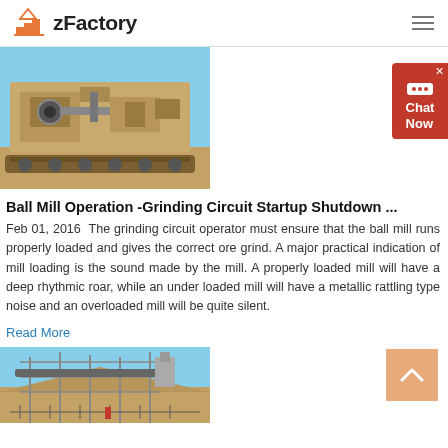zFactory
[Figure (photo): Industrial grinding/mining machine photographed in a desert setting, yellow/beige colored heavy equipment]
[Figure (other): Red chat widget with bubble icon and 'Chat Now' text, with X close button]
Ball Mill Operation -Grinding Circuit Startup Shutdown ...
Feb 01, 2016  The grinding circuit operator must ensure that the ball mill runs properly loaded and gives the correct ore grind. A major practical indication of mill loading is the sound made by the mill. A properly loaded mill will have a deep rhythmic roar, while an under loaded mill will have a metallic rattling type noise and an overloaded mill will be quite silent.
Read More
[Figure (photo): Industrial conveyor belt / mining plant structure photographed outdoors against a desert hillside background]
[Figure (other): Orange/peach colored scroll-to-top button with upward chevron arrow]